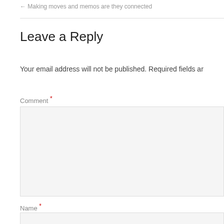← Making moves and memos are they connected
Leave a Reply
Your email address will not be published. Required fields ar
Comment *
Name *